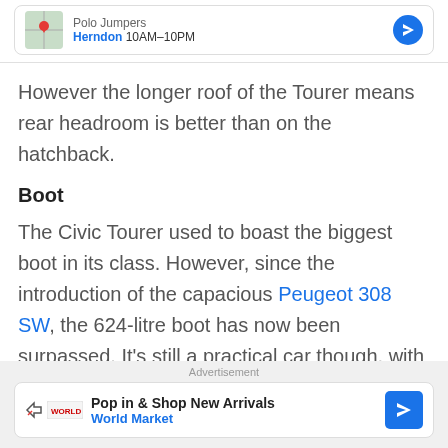[Figure (screenshot): Location card showing store with map thumbnail, 'Herndon 10AM–10PM' and navigation icon]
However the longer roof of the Tourer means rear headroom is better than on the hatchback.
Boot
The Civic Tourer used to boast the biggest boot in its class. However, since the introduction of the capacious Peugeot 308 SW, the 624-litre boot has now been surpassed. It's still a practical car though, with the square opening and load lip revealing a useable 1,668 litres with the rear seats folded flat.
Advertisement
[Figure (screenshot): Advertisement card: 'Pop in & Shop New Arrivals' World Market with navigation arrow icon]